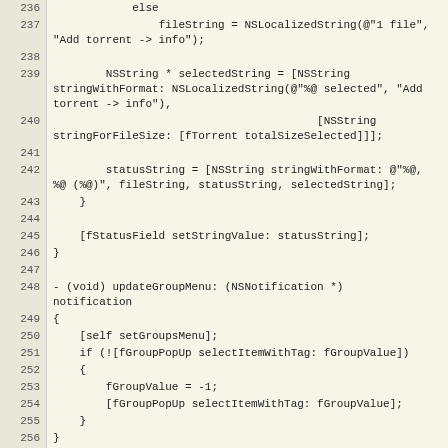[Figure (screenshot): Source code listing in Objective-C showing lines 236-262, with line numbers on the left in a beige/gray gutter and code on the right on a light yellow background.]